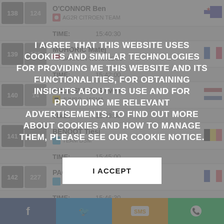| # | BIB | Rider | Country |
| --- | --- | --- | --- |
| 138 | 124 | O'CONNOR Ben / AG2R CITROEN TEAM | AUS | TIME: 15:40:30 |
| 139 | 165 | MOHORIC Matej / BAHRAIN VICTORIOUS | SVN | TIME: 15:42:00 |
| 140 | 14 | KRUIJSWIJK Steven / JUMBO - VISMA | NED | TIME: 15:43:30 |
| 141 | 142 | BENOOT Tiesj / TEAM DSM | BEL | TIME: 15:45:00 |
| 142 | 227 | PACHER Quentin / B&B HOTELS P/B KTM | FRA | TIME: 15:46:30 |
| 143 | 211 | MEINTJES Louis | RSA |  |
[Figure (infographic): Cookie consent overlay with text: I AGREE THAT THIS WEBSITE USES COOKIES AND SIMILAR TECHNOLOGIES FOR PROVIDING ME THIS WEBSITE AND ITS FUNCTIONALITIES, FOR OBTAINING INSIGHTS ABOUT ITS USE AND FOR PROVIDING ME RELEVANT ADVERTISEMENTS. TO FIND OUT MORE ABOUT COOKIES AND HOW TO MANAGE THEM, PLEASE SEE OUR COOKIE NOTICE. With an I ACCEPT button.]
[Figure (infographic): Social media sharing bar at bottom: Facebook, Twitter, SMS, WhatsApp]